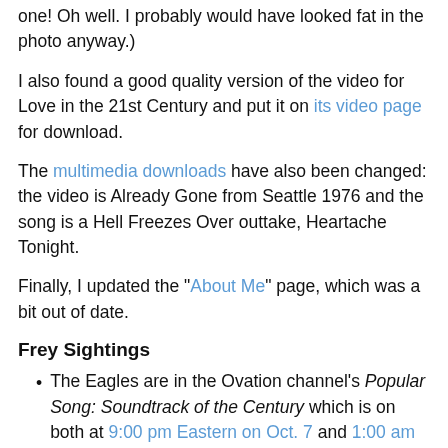one! Oh well. I probably would have looked fat in the photo anyway.)
I also found a good quality version of the video for Love in the 21st Century and put it on its video page for download.
The multimedia downloads have also been changed: the video is Already Gone from Seattle 1976 and the song is a Hell Freezes Over outtake, Heartache Tonight.
Finally, I updated the "About Me" page, which was a bit out of date.
Frey Sightings
The Eagles are in the Ovation channel's Popular Song: Soundtrack of the Century which is on both at 9:00 pm Eastern on Oct. 7 and 1:00 am Eastern on Oct. 8.
Post a comment.